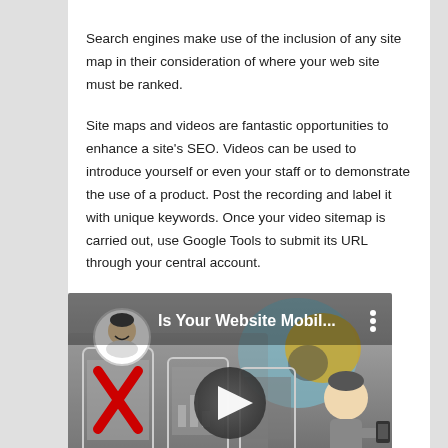Search engines make use of the inclusion of any site map in their consideration of where your web site must be ranked.
Site maps and videos are fantastic opportunities to enhance a site's SEO. Videos can be used to introduce yourself or even your staff or to demonstrate the use of a product. Post the recording and label it with unique keywords. Once your video sitemap is carried out, use Google Tools to submit its URL through your central account.
[Figure (screenshot): Embedded video thumbnail showing 'Is Your Website Mobil...' with a play button, a cartoon avatar, and illustrations of mobile devices with a red X mark and a person holding a phone.]